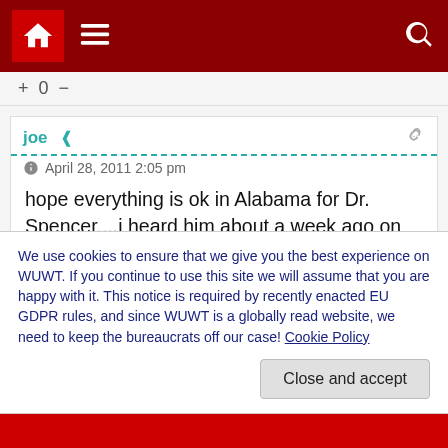[Figure (screenshot): Navigation bar with home icon, hamburger menu, and search icon on dark red background]
+ 0 -
joe  ‹share›
April 28, 2011 2:05 pm
hope everything is ok in Alabama for Dr. Spencer....i heard him about a week ago on the Dennis Prager show....
also heard Anthony on the Lars Larsen show yesterday(good job on Shell Oil essentially having wasted $4 billion thanks to our gov't) and Chuck Weiss(?) today on Larsen's show...they
We use cookies to ensure that we give you the best experience on WUWT. If you continue to use this site we will assume that you are happy with it. This notice is required by recently enacted EU GDPR rules, and since WUWT is a globally read website, we need to keep the bureaucrats off our case! Cookie Policy
Close and accept